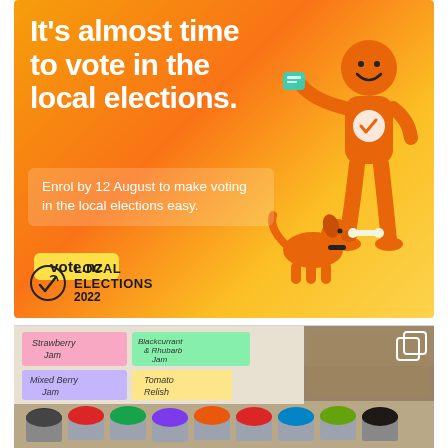[Figure (infographic): New Zealand Local Elections 2022 voting advertisement. Orange gradient background with large white bold text 'It's almost time to vote in the local elections.' An orange 3D cartoon figure holding a ballot and an orange cartoon dog are shown. A semi-transparent box contains text 'Enrol by 12 August to make voting in the local elections easy.' A yellow button shows 'vote.nz'. Bottom left has the Local Elections 2022 logo.]
[Figure (photo): Photo of a market stall with jars of jam and relish. Handwritten labels visible include 'Strawberry Jam', 'Blackcurrant & Rhubarb Jam', 'Mixed Berry Jam', 'Tomato Relish'. Multiple jars with colourful lids arranged in the foreground.]